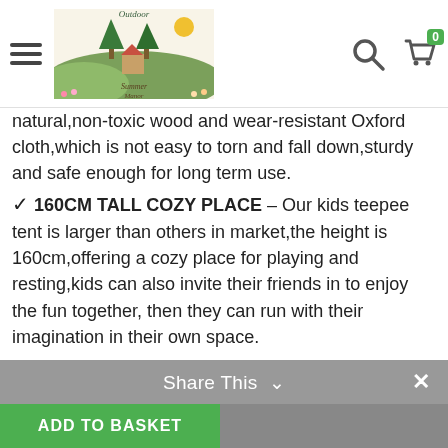Navigation header with hamburger menu, logo, search icon, and cart icon (0 items)
natural,non-toxic wood and wear-resistant Oxford cloth,which is not easy to torn and fall down,sturdy and safe enough for long term use.
✓ 160CM TALL COZY PLACE – Our kids teepee tent is larger than others in market,the height is 160cm,offering a cozy place for playing and resting,kids can also invite their friends in to enjoy the fun together, then they can run with their imagination in their own space.
✓ INDOOR OUTDOOR PLAYHOUSE – Due to its lightweight design,you can move it to anywhere easily,it is great for alomst occasions,such as living room,bedroom,garden and balcony,besides,the pink one owns a window for good air circulation,your kids will love playing in it for hours.
COLOUR NAME   Choose an option
Share This ∨  ×  ADD TO BASKET